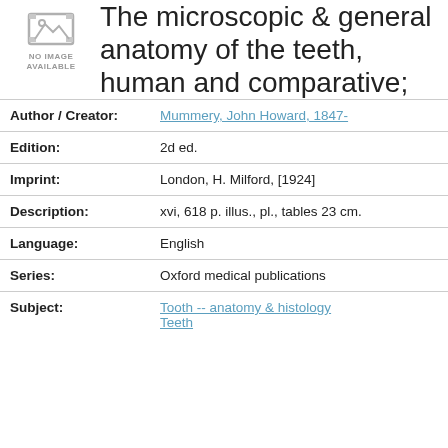[Figure (illustration): No image available placeholder icon — a grey film/image icon with text 'NO IMAGE AVAILABLE' below it]
The microscopic & general anatomy of the teeth, human and comparative;
| Field | Value |
| --- | --- |
| Author / Creator: | Mummery, John Howard, 1847- |
| Edition: | 2d ed. |
| Imprint: | London, H. Milford, [1924] |
| Description: | xvi, 618 p. illus., pl., tables 23 cm. |
| Language: | English |
| Series: | Oxford medical publications |
| Subject: | Tooth -- anatomy & histology
Teeth |